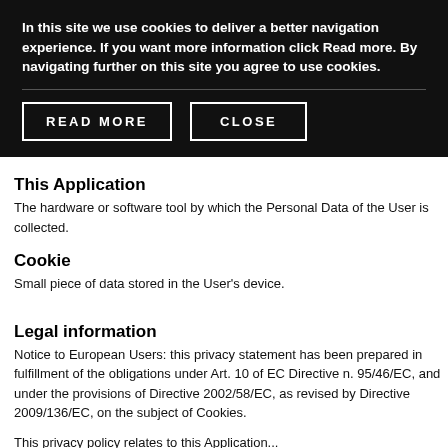In this site we use cookies to deliver a better navigation experience. If you want more information click Read more. By navigating further on this site you agree to use cookies.
READ MORE
CLOSE
This Application
The hardware or software tool by which the Personal Data of the User is collected.
Cookie
Small piece of data stored in the User's device.
Legal information
Notice to European Users: this privacy statement has been prepared in fulfillment of the obligations under Art. 10 of EC Directive n. 95/46/EC, and under the provisions of Directive 2002/58/EC, as revised by Directive 2009/136/EC, on the subject of Cookies.
This privacy policy relates to this Application...